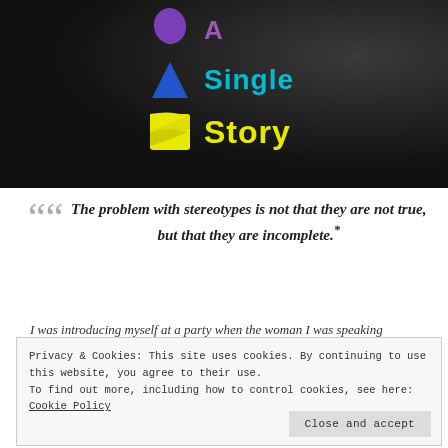[Figure (illustration): Dark background hero image with geometric shapes (purple teardrop, blue triangle, yellow flag/pennant) alongside the text 'A Single Story' in purple, cyan, and yellow colors]
The problem with stereotypes is not that they are not true, but that they are incomplete.*
I was introducing myself at a party when the woman I was speaking
Privacy & Cookies: This site uses cookies. By continuing to use this website, you agree to their use.
To find out more, including how to control cookies, see here: Cookie Policy
Close and accept